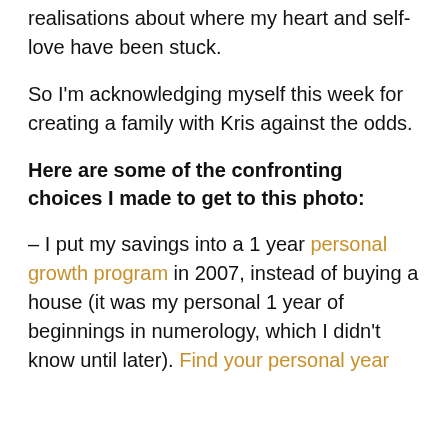realisations about where my heart and self-love have been stuck.
So I'm acknowledging myself this week for creating a family with Kris against the odds.
Here are some of the confronting choices I made to get to this photo:
– I put my savings into a 1 year personal growth program in 2007, instead of buying a house (it was my personal 1 year of beginnings in numerology, which I didn't know until later). Find your personal year